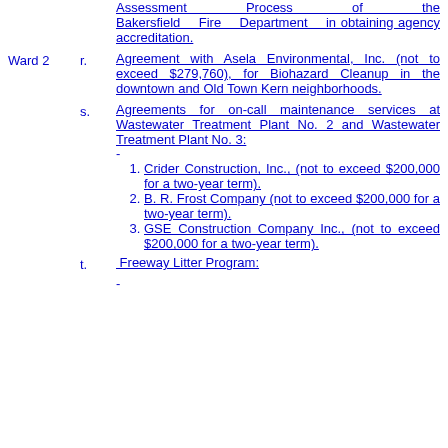Assessment Process of the Bakersfield Fire Department in obtaining agency accreditation.
r. Agreement with Asela Environmental, Inc. (not to exceed $279,760), for Biohazard Cleanup in the downtown and Old Town Kern neighborhoods.
s. Agreements for on-call maintenance services at Wastewater Treatment Plant No. 2 and Wastewater Treatment Plant No. 3:
1. Crider Construction, Inc., (not to exceed $200,000 for a two-year term).
2. B. R. Frost Company (not to exceed $200,000 for a two-year term).
3. GSE Construction Company Inc., (not to exceed $200,000 for a two-year term).
t. Freeway Litter Program: